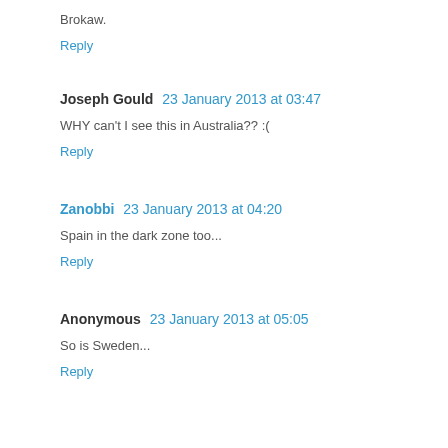Brokaw.
Reply
Joseph Gould  23 January 2013 at 03:47
WHY can't I see this in Australia?? :(
Reply
Zanobbi  23 January 2013 at 04:20
Spain in the dark zone too...
Reply
Anonymous  23 January 2013 at 05:05
So is Sweden...
Reply